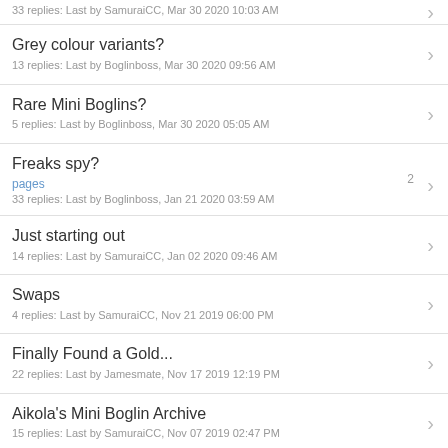33 replies: Last by SamuraiCC, Mar 30 2020 10:03 AM
Grey colour variants?
13 replies: Last by Boglinboss, Mar 30 2020 09:56 AM
Rare Mini Boglins?
5 replies: Last by Boglinboss, Mar 30 2020 05:05 AM
Freaks spy? 2 pages
33 replies: Last by Boglinboss, Jan 21 2020 03:59 AM
Just starting out
14 replies: Last by SamuraiCC, Jan 02 2020 09:46 AM
Swaps
4 replies: Last by SamuraiCC, Nov 21 2019 06:00 PM
Finally Found a Gold...
22 replies: Last by Jamesmate, Nov 17 2019 12:19 PM
Aikola's Mini Boglin Archive
15 replies: Last by SamuraiCC, Nov 07 2019 02:47 PM
New Mini Boglin(s?) at toycon UK
0 replies: Last by Mikeum, Mar 31 2019 04:24 PM